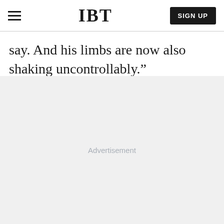IBT | SIGN UP
say. And his limbs are now also shaking uncontrollably.”
Advertisement